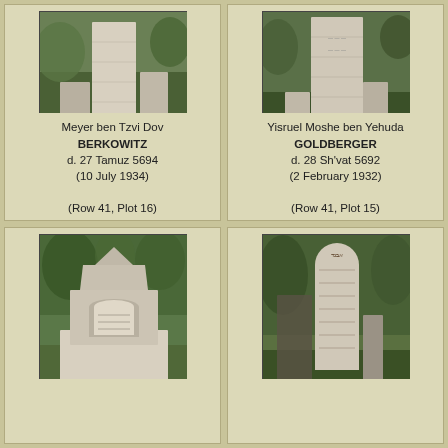[Figure (photo): Gravestone of Meyer ben Tzvi Dov Berkowitz - tall light stone obelisk in cemetery]
Meyer ben Tzvi Dov BERKOWITZ
d. 27 Tamuz 5694
(10 July 1934)

(Row 41, Plot 16)
[Figure (photo): Gravestone of Yisruel Moshe ben Yehuda Goldberger - tall light stone in cemetery]
Yisruel Moshe ben Yehuda GOLDBERGER
d. 28 Sh'vat 5692
(2 February 1932)

(Row 41, Plot 15)
[Figure (photo): Gravestone with arched pediment monument structure in cemetery]
[Figure (photo): Tall rounded gravestone with Hebrew inscriptions in cemetery]